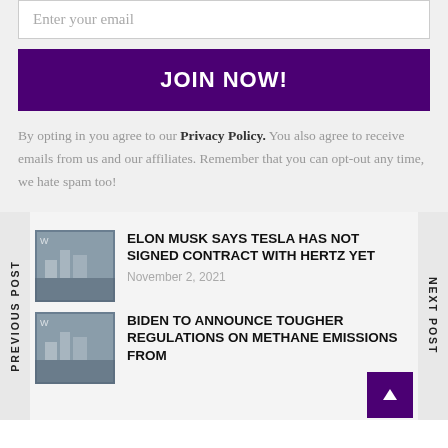Enter your email
JOIN NOW!
By opting in you agree to our Privacy Policy. You also agree to receive emails from us and our affiliates. Remember that you can opt-out any time, we hate spam too!
PREVIOUS POST
NEXT POST
ELON MUSK SAYS TESLA HAS NOT SIGNED CONTRACT WITH HERTZ YET
November 2, 2021
BIDEN TO ANNOUNCE TOUGHER REGULATIONS ON METHANE EMISSIONS FROM